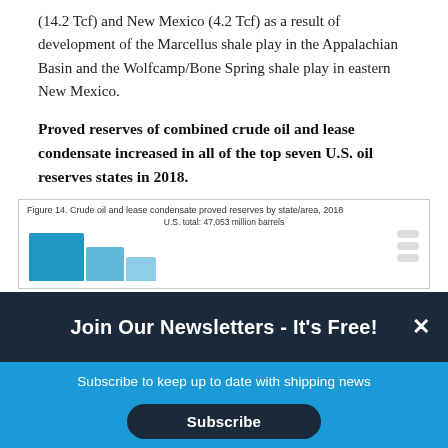(14.2 Tcf) and New Mexico (4.2 Tcf) as a result of development of the Marcellus shale play in the Appalachian Basin and the Wolfcamp/Bone Spring shale play in eastern New Mexico.
Proved reserves of combined crude oil and lease condensate increased in all of the top seven U.S. oil reserves states in 2018.
[Figure (bar-chart): Partial bar chart showing crude oil and lease condensate proved reserves by state/area for 2018. U.S. total: 47,053 million barrels. Bars partially visible.]
Join Our Newsletters - It's Free!
Subscribe to keep up to date with shipping news
Subscribe